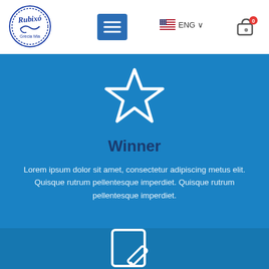[Figure (logo): Rubixo brand logo, circular design with text]
[Figure (screenshot): Hamburger menu button (blue square with three white lines)]
[Figure (infographic): US flag icon with ENG label and dropdown arrow]
[Figure (infographic): Shopping cart icon with red badge showing 0]
[Figure (illustration): White outlined star icon on blue background]
Winner
Lorem ipsum dolor sit amet, consectetur adipiscing metus elit. Quisque rutrum pellentesque imperdiet. Quisque rutrum pellentesque imperdiet.
[Figure (illustration): White outlined edit/pencil icon on blue background, partially visible]